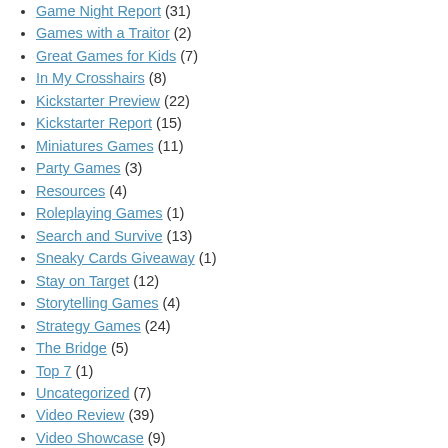Game Night Report (31)
Games with a Traitor (2)
Great Games for Kids (7)
In My Crosshairs (8)
Kickstarter Preview (22)
Kickstarter Report (15)
Miniatures Games (11)
Party Games (3)
Resources (4)
Roleplaying Games (1)
Search and Survive (13)
Sneaky Cards Giveaway (1)
Stay on Target (12)
Storytelling Games (4)
Strategy Games (24)
The Bridge (5)
Top 7 (1)
Uncategorized (7)
Video Review (39)
Video Showcase (9)
War Games (2)
Written Review (1)
X-Wing Accessories (2)
Follow FDR on Twitter